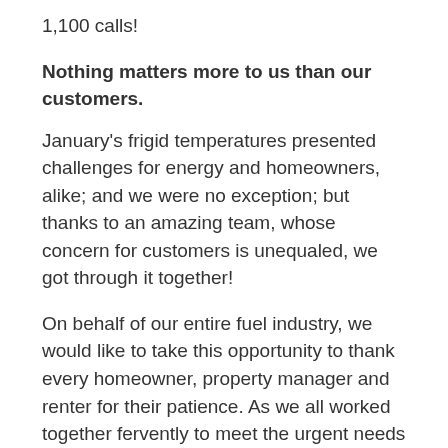1,100 calls!
Nothing matters more to us than our customers.
January's frigid temperatures presented challenges for energy and homeowners, alike; and we were no exception; but thanks to an amazing team, whose concern for customers is unequaled, we got through it together!
On behalf of our entire fuel industry, we would like to take this opportunity to thank every homeowner, property manager and renter for their patience. As we all worked together fervently to meet the urgent needs of your families.
We also want to thank our work family: The many drivers, dispatchers, and customer service teams for their countless hours of hard work and dedication to our customers.
It is an honor and pleasure to serve you.